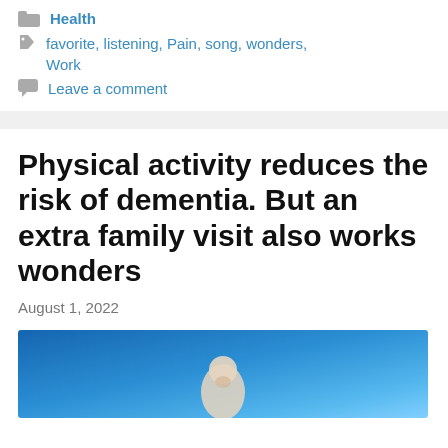Health
favorite, listening, Pain, song, wonders, Work
Leave a comment
Physical activity reduces the risk of dementia. But an extra family visit also works wonders
August 1, 2022
[Figure (photo): Photo of a person on a blue background, partially visible at bottom of page]